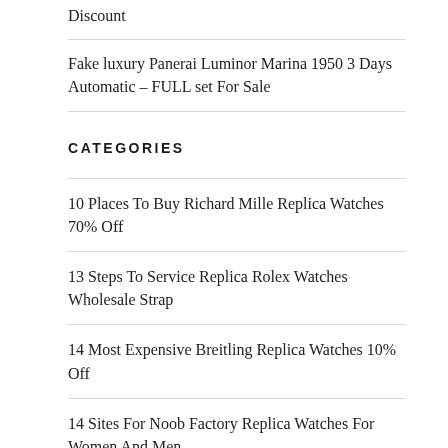Discount
Fake luxury Panerai Luminor Marina 1950 3 Days Automatic – FULL set For Sale
CATEGORIES
10 Places To Buy Richard Mille Replica Watches 70% Off
13 Steps To Service Replica Rolex Watches Wholesale Strap
14 Most Expensive Breitling Replica Watches 10% Off
14 Sites For Noob Factory Replica Watches For Women And Men
15 Easy Ways To Buy Rolex Replica Watches 60% Off